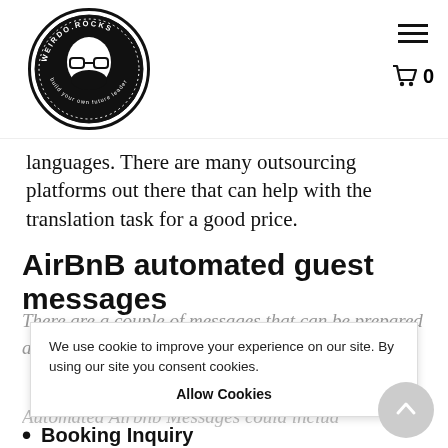[Figure (logo): weirdo.rocks circular logo with bearded man face and text 'WEIRDO.ROCKS' around the border]
languages. There are many outsourcing platforms out there that can help with the translation task for a good price.
AirBnB automated guest messages
There are a couple of messages that can be prepared and automated in the booking p
We use cookie to improve your experience on our site. By using our site you consent cookies.
Allow Cookies
Automated Airbnb Messages could includ
Booking Inquiry